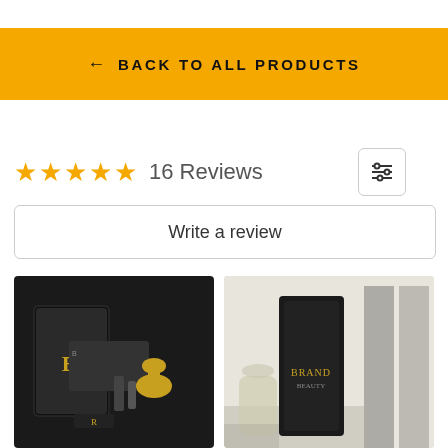← BACK TO ALL PRODUCTS
★★★★★ 16 Reviews
Write a review
[Figure (photo): Product photo showing luxury skincare/beauty kit in black packaging with gold roller device and accessories]
[Figure (photo): Product photo showing a tall black luxury product box with gold branding, placed next to plants by a window]